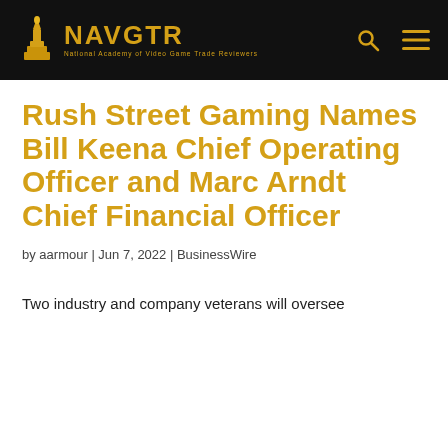NAVGTR — National Academy of Video Game Trade Reviewers
Rush Street Gaming Names Bill Keena Chief Operating Officer and Marc Arndt Chief Financial Officer
by aarmour | Jun 7, 2022 | BusinessWire
Two industry and company veterans will oversee